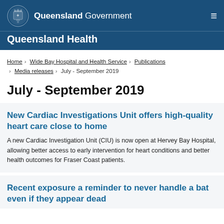Queensland Government — Queensland Health
Home > Wide Bay Hospital and Health Service > Publications > Media releases > July - September 2019
July - September 2019
New Cardiac Investigations Unit offers high-quality heart care close to home
A new Cardiac Investigation Unit (CIU) is now open at Hervey Bay Hospital, allowing better access to early intervention for heart conditions and better health outcomes for Fraser Coast patients.
Recent exposure a reminder to never handle a bat even if they appear dead